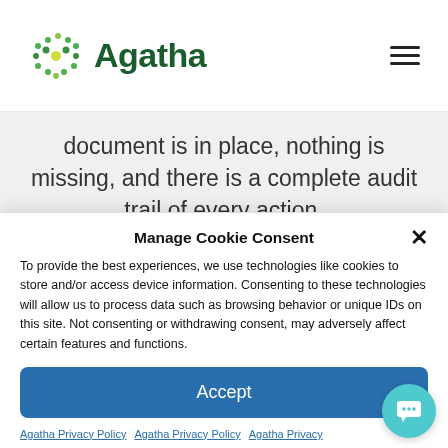Agatha
document is in place, nothing is missing, and there is a complete audit trail of every action.
Manage Cookie Consent
To provide the best experiences, we use technologies like cookies to store and/or access device information. Consenting to these technologies will allow us to process data such as browsing behavior or unique IDs on this site. Not consenting or withdrawing consent, may adversely affect certain features and functions.
Accept
Agatha Privacy Policy  Agatha Privacy Policy  Agatha Privacy